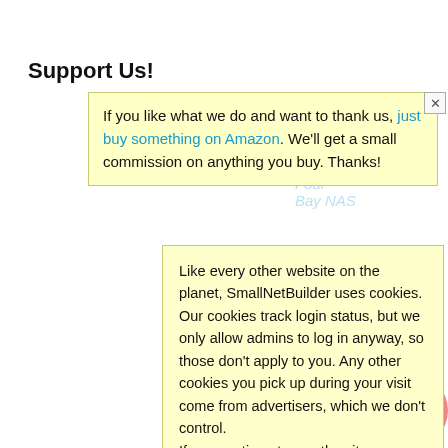Support Us!
If you like what we do and want to thank us, just buy something on Amazon. We'll get a small commission on anything you buy. Thanks!
Like every other website on the planet, SmallNetBuilder uses cookies. Our cookies track login status, but we only allow admins to log in anyway, so those don't apply to you. Any other cookies you pick up during your visit come from advertisers, which we don't control.
If you continue to use the site, you agree to tolerate our use of cookies. Thank you!
Don't Mi[ss]
How M[ake the Most of Y]our Wi-Fi Rou[ter]